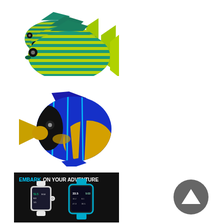[Figure (photo): Group of three striped tropical fish (surgeonfish/tang) with teal and green horizontal stripes on white background]
[Figure (photo): Blue and yellow angelfish (emperor angelfish) with bold blue and electric blue stripes on white background]
[Figure (illustration): Advertisement banner on black background reading 'EMBARK ON YOUR ADVENTURE' with two diving smartwatches (white and teal/blue) showing dive computer displays]
[Figure (other): Dark gray circular button with upward-pointing triangle/arrow icon]